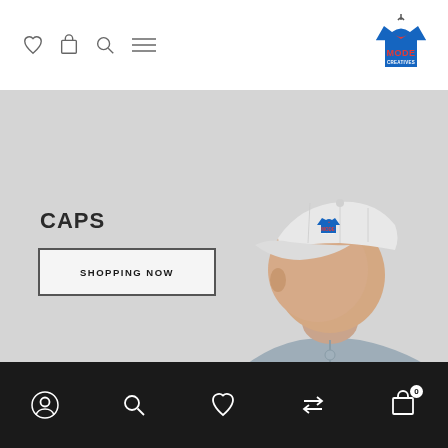Mode Creatives - navigation header with wishlist, cart, search, menu icons and logo
[Figure (photo): Man wearing a white cap with Mode Creatives logo, grey jacket, light grey background. Hero banner for Caps category with SHOPPING NOW button.]
CAPS
SHOPPING NOW
Bottom navigation bar with account, search, wishlist, compare, and cart (0) icons